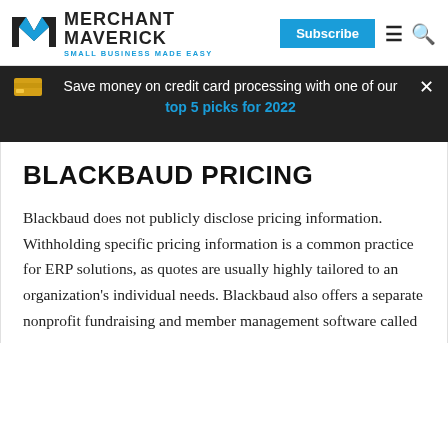[Figure (logo): Merchant Maverick logo with M chevron icon and tagline SMALL BUSINESS MADE EASY]
Save money on credit card processing with one of our top 5 picks for 2022
BLACKBAUD PRICING
Blackbaud does not publicly disclose pricing information. Withholding specific pricing information is a common practice for ERP solutions, as quotes are usually highly tailored to an organization’s individual needs. Blackbaud also offers a separate nonprofit fundraising and member management software called